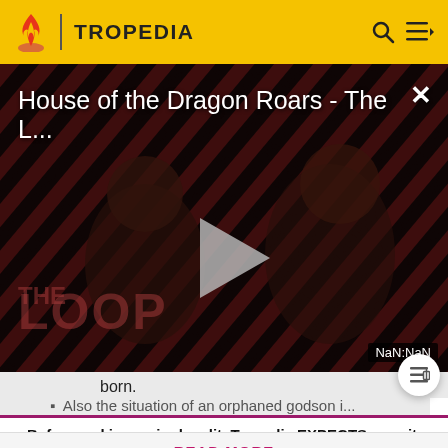TROPEDIA
[Figure (screenshot): Video thumbnail for 'House of the Dragon Roars - The L...' with diagonal red and dark stripes background, two dark figures, THE LOOP text, play button overlay, and NaN:NaN timestamp. Close button (x) in top right.]
born.
Also the situation of an orphaned godson i...
Before making a single edit, Tropedia EXPECTS our site policy and manual of style to be followed. Failure to do so may
READ MORE